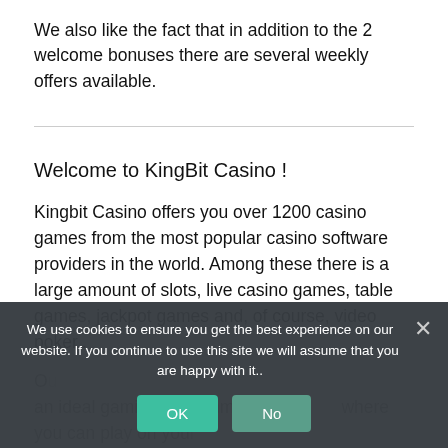We also like the fact that in addition to the 2 welcome bonuses there are several weekly offers available.
Welcome to KingBit Casino !
Kingbit Casino offers you over 1200 casino games from the most popular casino software providers in the world. Among these there is a large amount of slots, live casino games, table games, jackpot games and, of course, video poker..
Our... an ideal gaming environment, where you can play on your PC, mobile phone or tablet. The live casino games are also fully accessible on mobile. The casino game providers...
We use cookies to ensure you get the best experience on our website. If you continue to use this site we will assume that you are happy with it..